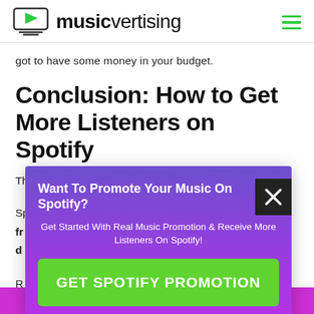musicvertising
got to have some money in your budget.
Conclusion: How to Get More Listeners on Spotify
These six tips will help any artist gain more listeners on Spotify. If you're unsure where to start, simply start fr... d...
[Figure (infographic): Popup overlay: 'Want To Promote Your Music On Spotify?' with subtitle 'Get Started With Real Music Promotion & Receive More Listeners On Spotify!' and a green button 'GET SPOTIFY PROMOTION']
R...